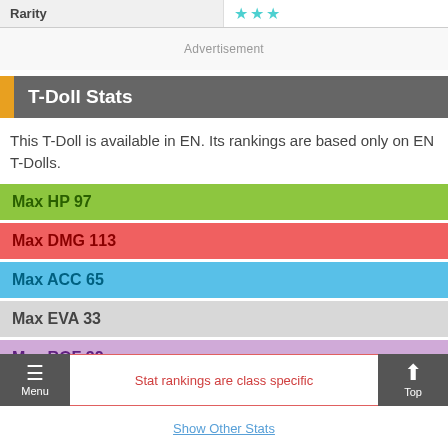| Rarity | ★★★ |
| --- | --- |
Advertisement
T-Doll Stats
This T-Doll is available in EN. Its rankings are based only on EN T-Dolls.
Max HP 97
Max DMG 113
Max ACC 65
Max EVA 33
Max ROF 32
Stat rankings are class specific
Show Other Stats